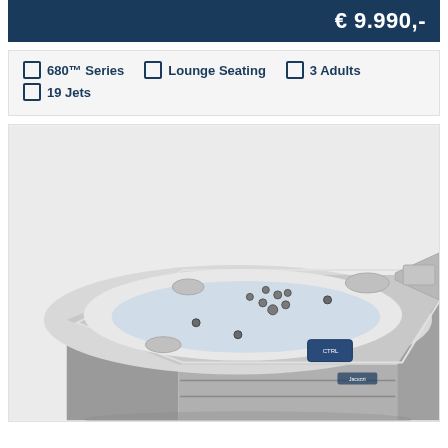€ 9.990,-
680™ Series
Lounge Seating
3 Adults
19 Jets
[Figure (photo): Hot tub / spa product photo showing a square white and silver jacuzzi with multiple jets, a control panel, and grey cabinet exterior.]